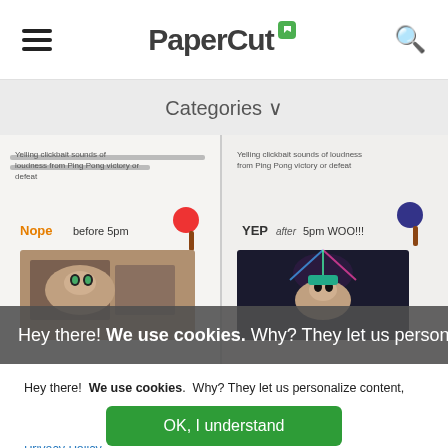PaperCut
Categories
[Figure (screenshot): Screenshot of PaperCut website showing two article preview cards with cat images and text about ping pong sounds; partially obscured by cookie consent overlays]
Hey there! We use cookies. Why? They let us personalize
Hey there!  We use cookies.  Why? They let us personalize content, track usage, and analyze data on our end to improve your experience.  To learn more about the different cookies we're using, check out our Privacy Policy.
OK, I understand